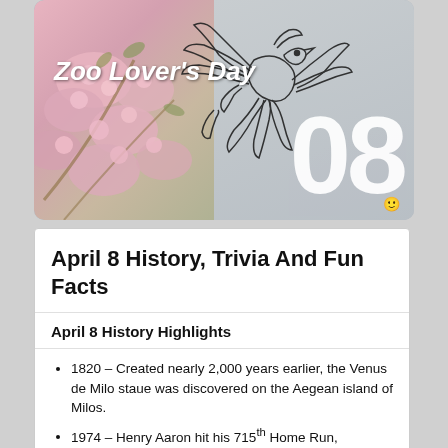[Figure (illustration): Zoo Lover's Day themed banner image with pink cherry blossom flowers on the left, a decorative bird/phoenix line drawing in the center, gray background on the right, and the number '08' in large white bold text. The text 'Zoo Lover's Day' appears in white italic bold font on the left side.]
April 8 History, Trivia And Fun Facts
April 8 History Highlights
1820 – Created nearly 2,000 years earlier, the Venus de Milo staue was discovered on the Aegean island of Milos.
1974 – Henry Aaron hit his 715th Home Run,